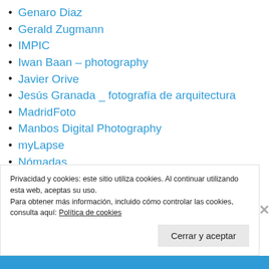Genaro Diaz
Gerald Zugmann
IMPIC
Iwan Baan – photography
Javier Orive
Jesús Granada _ fotografía de arquitectura
MadridFoto
Manbos Digital Photography
myLapse
Nómadas
Paisajes Españoles
Privacidad y cookies: este sitio utiliza cookies. Al continuar utilizando esta web, aceptas su uso.
Para obtener más información, incluido cómo controlar las cookies, consulta aquí: Política de cookies
Cerrar y aceptar